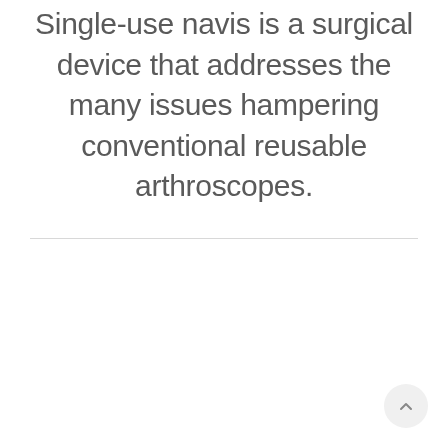Single-use navis is a surgical device that addresses the many issues hampering conventional reusable arthroscopes.